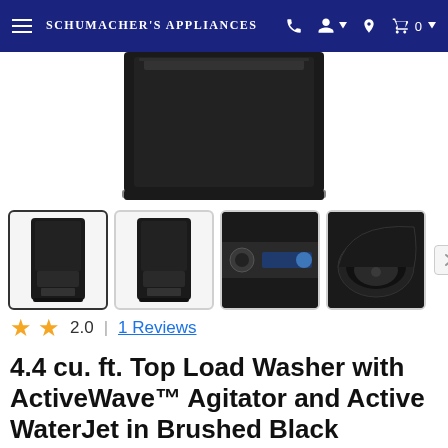Schumacher's Appliances
[Figure (photo): Top load washer in brushed black, partial top view showing the lid area against white background]
[Figure (photo): Four product thumbnail images of washer: (1) full washer front view - selected, (2) full washer front view, (3) close-up of control panel area, (4) open washer drum view from above]
2.0  |  1 Reviews
4.4 cu. ft. Top Load Washer with ActiveWave™ Agitator and Active WaterJet in Brushed Black